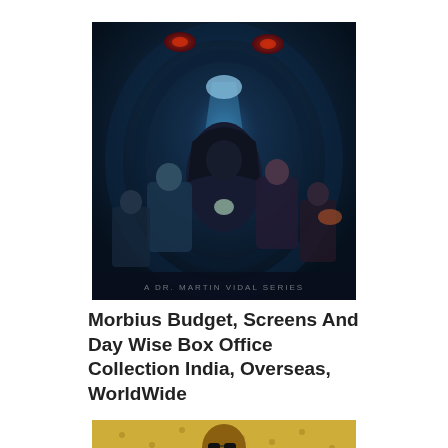[Figure (photo): Movie poster for Morbius showing a hooded dark figure in the center with glowing blue light, surrounded by other characters, dark atmospheric background with glowing red eyes at the top]
Morbius Budget, Screens And Day Wise Box Office Collection India, Overseas, WorldWide
[Figure (photo): Partial movie poster showing a person wearing sunglasses against a yellowish/golden textured background]